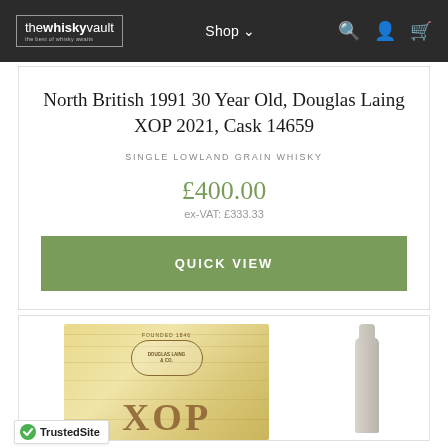thewhiskyvault — Shop
North British 1991 30 Year Old, Douglas Laing XOP 2021, Cask 14659
SINGLE LOWLAND GRAIN WHISKY
£400.00
ex-VAT: £333.33
QUICK VIEW
[Figure (photo): Wooden box product photo with XOP branding and whisky bottle, partial view]